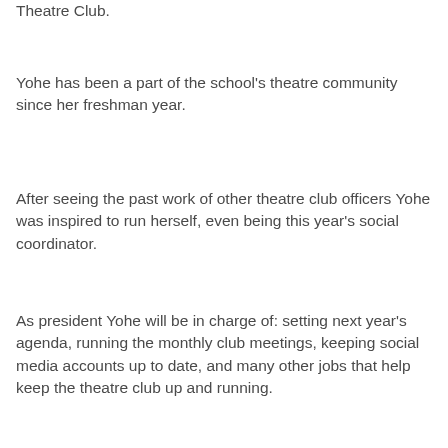Theatre Club.
Yohe has been a part of the school's theatre community since her freshman year.
After seeing the past work of other theatre club officers Yohe was inspired to run herself, even being this year's social coordinator.
As president Yohe will be in charge of: setting next year's agenda, running the monthly club meetings, keeping social media accounts up to date, and many other jobs that help keep the theatre club up and running.